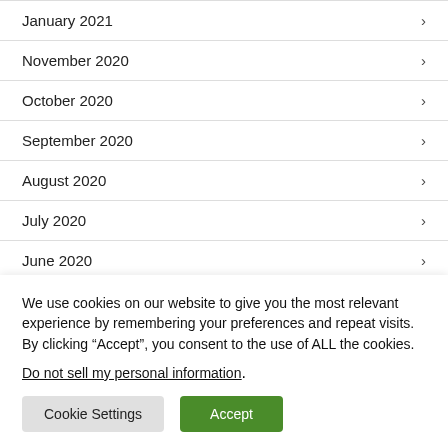January 2021
November 2020
October 2020
September 2020
August 2020
July 2020
June 2020
We use cookies on our website to give you the most relevant experience by remembering your preferences and repeat visits. By clicking “Accept”, you consent to the use of ALL the cookies.
Do not sell my personal information.
Cookie Settings | Accept